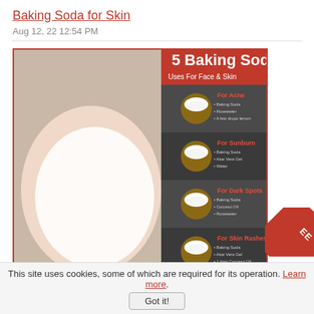Baking Soda for Skin
Aug 12, 22 12:54 PM
[Figure (infographic): Infographic showing '5 Baking Soda Uses For Face & Skin' with a woman applying a white face mask on the left and five bowls of baking soda with labels: For Acne, For Sunburn, For Dark Spots, For Skin Rashes, For Blackheads, each with bullet points of ingredients/instructions.]
Baking for Skin Treatments? Of course! Baking soda is one ingredient that you will always find in your kitchen cabinet but have your ever thought of
Read More
This site uses cookies, some of which are required for its operation. Learn more.
Got it!